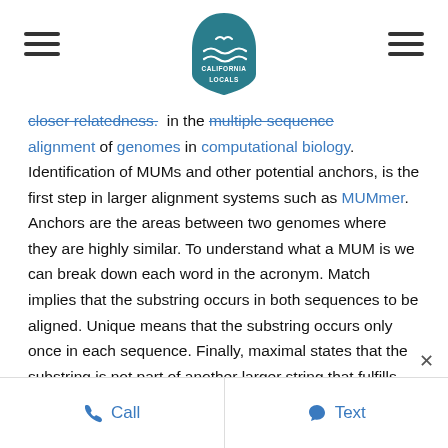California Locals logo with hamburger menus
closer relatedness. in the multiple sequence alignment of genomes in computational biology. Identification of MUMs and other potential anchors, is the first step in larger alignment systems such as MUMmer. Anchors are the areas between two genomes where they are highly similar. To understand what a MUM is we can break down each word in the acronym. Match implies that the substring occurs in both sequences to be aligned. Unique means that the substring occurs only once in each sequence. Finally, maximal states that the substring is not part of another larger string that fulfills both prior requirements. The idea behind this, is that long
Call   Text